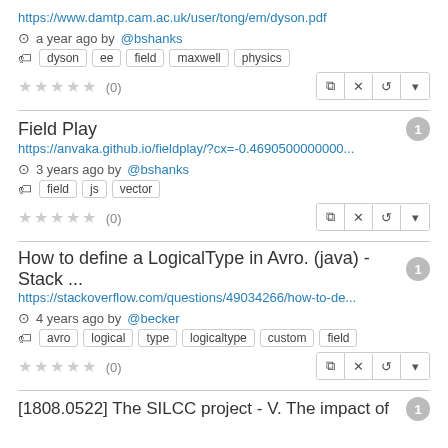https://www.damtp.cam.ac.uk/user/tong/em/dyson.pdf
a year ago by @bshanks
Tags: dyson ee field maxwell physics
★★★★★ (0)
Field Play
https://anvaka.github.io/fieldplay/?cx=-0.4690500000000...
3 years ago by @bshanks
Tags: field js vector
★★★★★ (0)
How to define a LogicalType in Avro. (java) - Stack ...
https://stackoverflow.com/questions/49034266/how-to-de...
4 years ago by @becker
Tags: avro logical type logicaltype custom field
★★★★★ (0)
[1808.0522] The SILCC project - V. The impact of